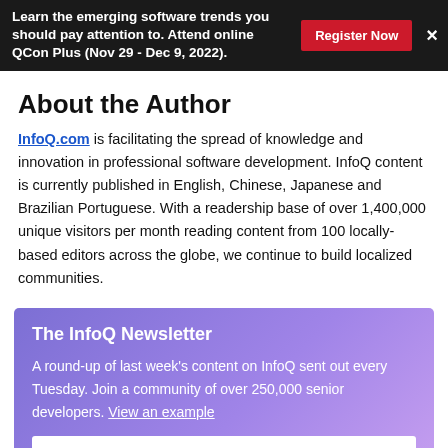Learn the emerging software trends you should pay attention to. Attend online QCon Plus (Nov 29 - Dec 9, 2022). Register Now ×
About the Author
InfoQ.com is facilitating the spread of knowledge and innovation in professional software development. InfoQ content is currently published in English, Chinese, Japanese and Brazilian Portuguese. With a readership base of over 1,400,000 unique visitors per month reading content from 100 locally-based editors across the globe, we continue to build localized communities.
The InfoQ Newsletter
A round-up of last week's content on InfoQ sent out every Tuesday. Join a community of over 250,000 senior developers. View an example